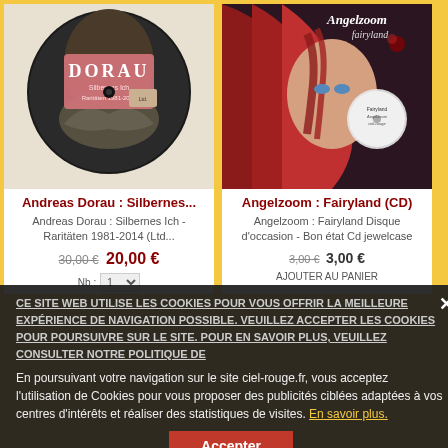[Figure (photo): Andreas Dorau Silbernes Ich album cover - picture disc vinyl with eagle sculpture]
[Figure (photo): Angelzoom Fairyland CD album cover - woman with red hair]
Andreas Dorau : Silbernes...
Angelzoom : Fairyland (CD)
Andreas Dorau : Silbernes Ich - Raritäten 1981-2014 (Ltd...
Angelzoom : Fairyland Disque d'occasion - Bon état Cd jewelcase
30,00 € 20,00 €
3,00 € 3,00 €
CE SITE WEB UTILISE LES COOKIES POUR VOUS OFFRIR LA MEILLEURE EXPÉRIENCE DE NAVIGATION POSSIBLE. VEUILLEZ ACCEPTER LES COOKIES POUR POURSUIVRE SUR LE SITE. POUR EN SAVOIR PLUS, VEUILLEZ CONSULTER NOTRE POLITIQUE DE
En poursuivant votre navigation sur le site ciel-rouge.fr, vous acceptez l'utilisation de Cookies pour vous proposer des publicités ciblées adaptées à vos centres d'intérêts et réaliser des statistiques de visites. En savoir plus.
Accepter